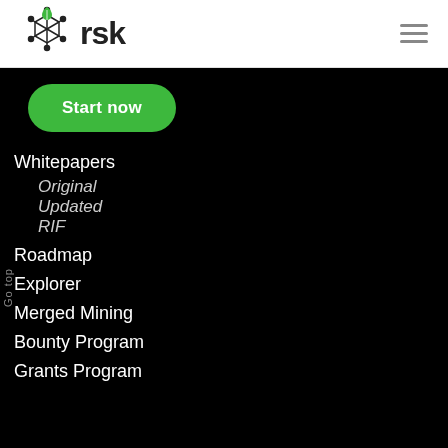[Figure (logo): RSK logo: hexagon network icon with green leaf, text 'rsk']
Start now
Whitepapers
Original
Updated
RIF
Roadmap
Explorer
Merged Mining
Bounty Program
Grants Program